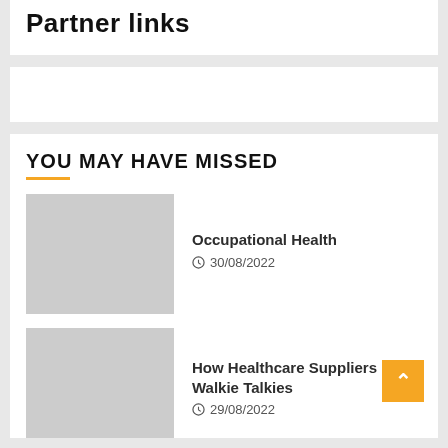Partner links
YOU MAY HAVE MISSED
[Figure (photo): Gray placeholder thumbnail for article 1]
Occupational Health
30/08/2022
[Figure (photo): Gray placeholder thumbnail for article 2]
How Healthcare Suppliers Walkie Talkies
29/08/2022